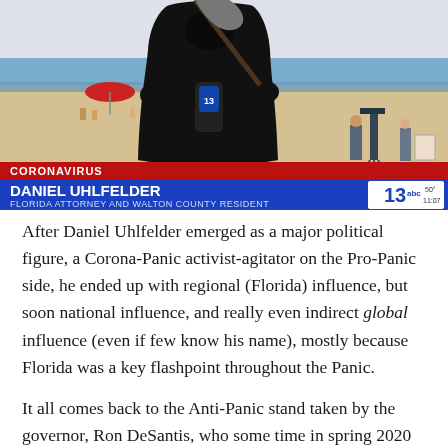[Figure (photo): TV news screenshot showing a person dressed as the Grim Reaper (black robe, holding scythe) on a Florida beach. Lower-third chyron reads 'CORONAVIRUS' in red bar, 'DANIEL UHLFELDER / FLORIDA ATTORNEY AND WALTON COUNTY RESIDENT' in blue bar, with ABC channel 13 bug showing 50° and 11:07.]
After Daniel Uhlfelder emerged as a major political figure, a Corona-Panic activist-agitator on the Pro-Panic side, he ended up with regional (Florida) influence, but soon national influence, and really even indirect global influence (even if few know his name), mostly because Florida was a key flashpoint throughout the Panic.
It all comes back to the Anti-Panic stand taken by the governor, Ron DeSantis, who some time in spring 2020